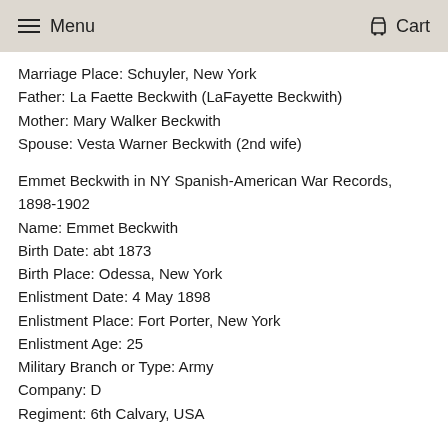Menu  Cart
Marriage Place: Schuyler, New York
Father: La Faette Beckwith (LaFayette Beckwith)
Mother: Mary Walker Beckwith
Spouse: Vesta Warner Beckwith (2nd wife)
Emmet Beckwith in NY Spanish-American War Records, 1898-1902
Name: Emmet Beckwith
Birth Date: abt 1873
Birth Place: Odessa, New York
Enlistment Date: 4 May 1898
Enlistment Place: Fort Porter, New York
Enlistment Age: 25
Military Branch or Type: Army
Company: D
Regiment: 6th Calvary, USA